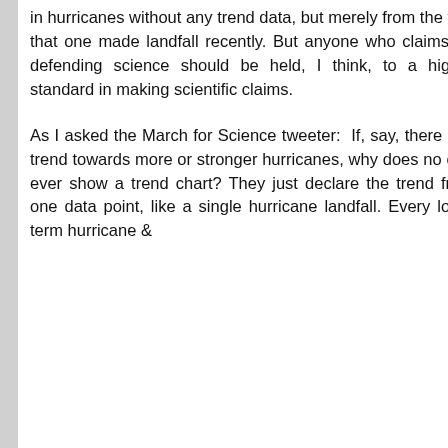in hurricanes without any trend data, but merely from the fact that one made landfall recently. But anyone who claims be defending science should be held, I think, to a higher standard in making scientific claims.
As I asked the March for Science tweeter: If, say, there is a trend towards more or stronger hurricanes, why does no one ever show a trend chart? They just declare the trend from one data point, like a single hurricane landfall. Every long-term hurricane &